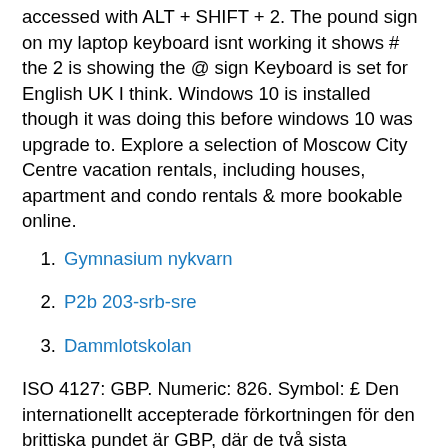accessed with ALT + SHIFT + 2. The pound sign on my laptop keyboard isnt working it shows # the 2 is showing the @ sign Keyboard is set for English UK I think. Windows 10 is installed though it was doing this before windows 10 was upgrade to. Explore a selection of Moscow City Centre vacation rentals, including houses, apartment and condo rentals & more bookable online.
Gymnasium nykvarn
P2b 203-srb-sre
Dammlotskolan
ISO 4127: GBP. Numeric: 826. Symbol: £ Den internationellt accepterade förkortningen för den brittiska pundet är GBP, där de två sista bokstäverna fi...